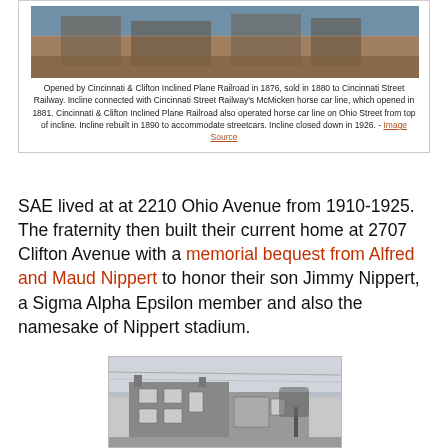[Figure (photo): Historical image of Cincinnati incline plane railroad area with streetcars and buildings]
Opened by Cincinnati & Clifton Inclined Plane Railroad in 1876, sold in 1880 to Cincinnati Street Railway. Incline connected with Cincinnati Street Railway's McMicken horse car line, which opened in 1881. Cincinnati & Clifton Inclined Plane Railroad also operated horse car line on Ohio Street from top of incline. Incline rebuilt in 1890 to accommodate streetcars. Incline closed down in 1926. - Image Source
SAE lived at at 2210 Ohio Avenue from 1910-1925.  The fraternity then built their current home at 2707 Clifton Avenue with a memorial bequest from Alfred and Maud Nippert to honor their son Jimmy Nippert, a Sigma Alpha Epsilon member and also the namesake of Nippert stadium.
[Figure (photo): Black and white historical photograph of a building at 2210 Ohio Avenue or 2707 Clifton Avenue]